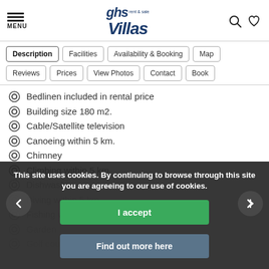ghs rent & sale Villas
Description
Facilities
Availability & Booking
Map
Reviews
Prices
View Photos
Contact
Book
Bedlinen included in rental price
Building size 180 m2.
Cable/Satellite television
Canoeing within 5 km.
Chimney
Climbing within 5 km.
Dishwasher
Diving within 5 km.
Fishing within 5 km.
Garden
Golf course with...
This site uses cookies. By continuing to browse through this site you are agreeing to our use of cookies.